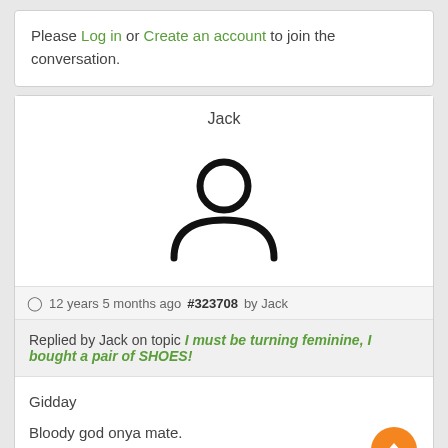Please Log in or Create an account to join the conversation.
Jack
[Figure (illustration): Generic user avatar icon: circle head above a rounded body shape, black outline on white background]
12 years 5 months ago #323708 by Jack
Replied by Jack on topic I must be turning feminine, I bought a pair of SHOES!
Gidday
Bloody god onya mate.